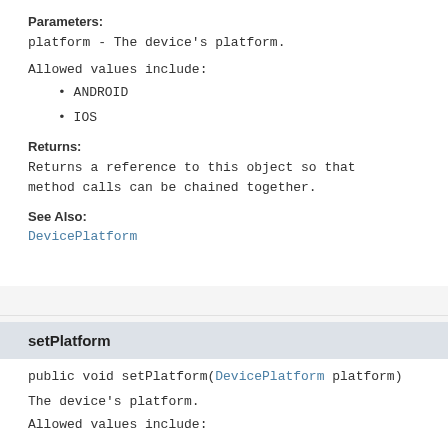Parameters:
platform - The device's platform.
Allowed values include:
ANDROID
IOS
Returns:
Returns a reference to this object so that method calls can be chained together.
See Also:
DevicePlatform
setPlatform
public void setPlatform(DevicePlatform platform)
The device's platform.
Allowed values include: